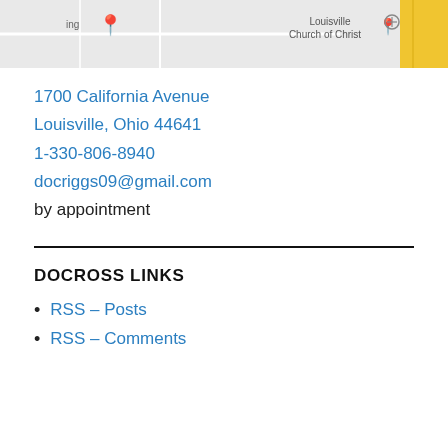[Figure (map): Google Maps screenshot showing Louisville Church of Christ location with map pin, partial street map with yellow road on right side and location pin on left.]
1700 California Avenue
Louisville, Ohio 44641
1-330-806-8940
docriggs09@gmail.com
by appointment
DOCROSS LINKS
RSS – Posts
RSS – Comments